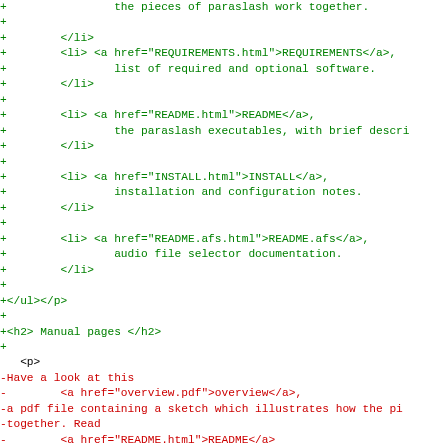Diff code view showing added (green +) and removed (red -) lines of HTML documentation source code for a paraslash project.